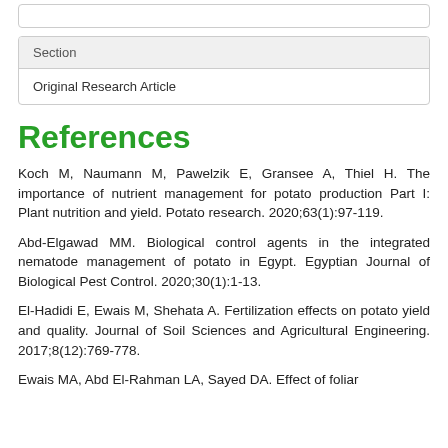| Section |
| --- |
| Original Research Article |
References
Koch M, Naumann M, Pawelzik E, Gransee A, Thiel H. The importance of nutrient management for potato production Part I: Plant nutrition and yield. Potato research. 2020;63(1):97-119.
Abd-Elgawad MM. Biological control agents in the integrated nematode management of potato in Egypt. Egyptian Journal of Biological Pest Control. 2020;30(1):1-13.
El-Hadidi E, Ewais M, Shehata A. Fertilization effects on potato yield and quality. Journal of Soil Sciences and Agricultural Engineering. 2017;8(12):769-778.
Ewais MA, Abd El-Rahman LA, Sayed DA. Effect of foliar...